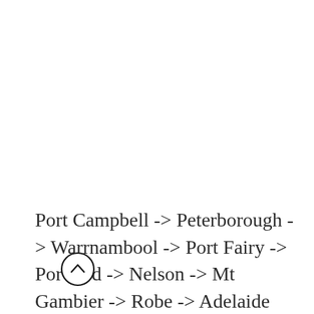Port Campbell -> Peterborough -> Warrnambool -> Port Fairy -> Portland -> Nelson -> Mt Gambier -> Robe -> Adelaide